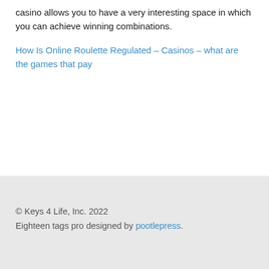casino allows you to have a very interesting space in which you can achieve winning combinations.
How Is Online Roulette Regulated – Casinos – what are the games that pay
© Keys 4 Life, Inc. 2022
Eighteen tags pro designed by pootlepress.